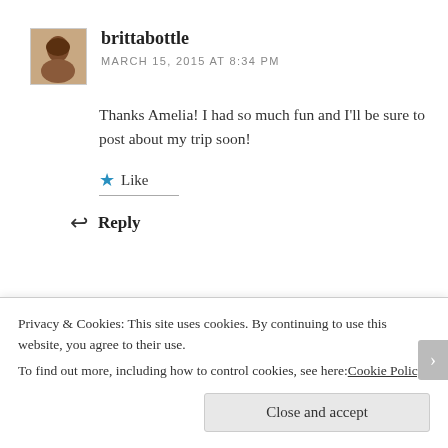[Figure (photo): Small avatar photo of a person with dark hair]
brittabottle
MARCH 15, 2015 AT 8:34 PM
Thanks Amelia! I had so much fun and I'll be sure to post about my trip soon!
Like
Reply
[Figure (illustration): Decorative yellow/gold pattern avatar for LifestyleswithLia]
LifestyleswithLia
Privacy & Cookies: This site uses cookies. By continuing to use this website, you agree to their use.
To find out more, including how to control cookies, see here: Cookie Policy